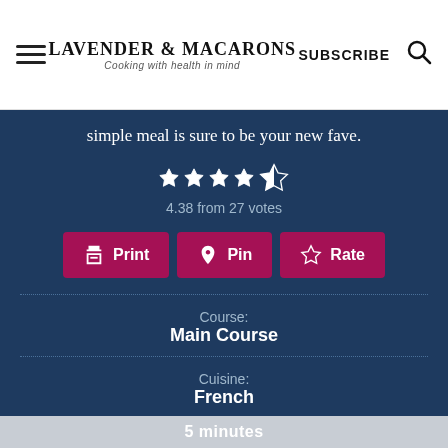LAVENDER & MACARONS — Cooking with health in mind — SUBSCRIBE
simple meal is sure to be your new fave.
4.38 from 27 votes
Print  Pin  Rate
Course: Main Course
Cuisine: French
Prep Time:
5 minutes